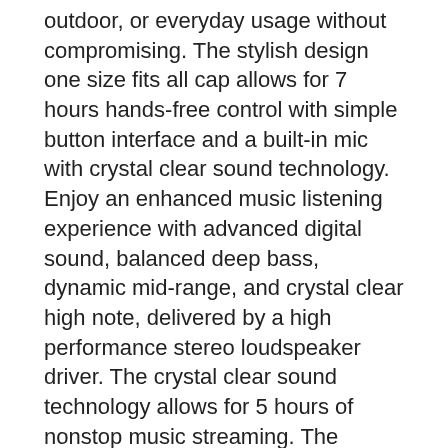outdoor, or everyday usage without compromising. The stylish design one size fits all cap allows for 7 hours hands-free control with simple button interface and a built-in mic with crystal clear sound technology. Enjoy an enhanced music listening experience with advanced digital sound, balanced deep bass, dynamic mid-range, and crystal clear high note, delivered by a high performance stereo loudspeaker driver. The crystal clear sound technology allows for 5 hours of nonstop music streaming. The wireless music beanie hat provides a clear listening experience. One size fit all and universal wireless technology makes it possible to fit all head sizes and shapes. All other media player devices with a compatible A2DP, AVRCP, and HS/HF profile can be connected to the Universal Bluetooth v4.0 technology with forward/backward compatibility. Human engineering design has a built-in rechargeable battery that can last up to 60 hours, and intuitive control buttons for quick access to play, pause, and skip music control, assistant support functions to answer calls, and long lasting high density built-in battery to manage up to 33 feet of It has an easy-access MicroUSB charging port. The high tech wireless music beanie has overheating circuit protection. The stylish bluetooth beanie is made with a unique design that makes it easy